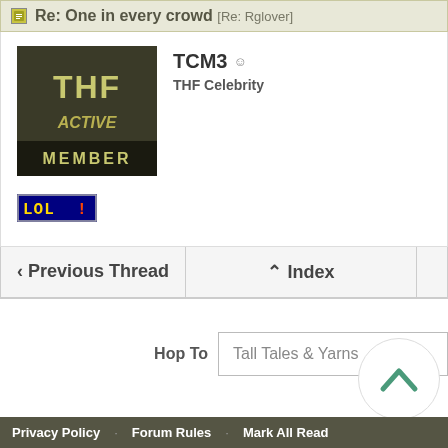Re: One in every crowd [Re: Rglover]
TCM3 - THF Celebrity
[Figure (illustration): THF Active Member avatar badge - dark olive/green background with 'THF' in large letters, 'ACTIVE' in styled text, and 'MEMBER' at the bottom]
[Figure (illustration): LOL! badge with yellow text on dark blue background]
< Previous Thread
^ Index
Hop To  Tall Tales & Yarns
Privacy Policy · Forum Rules · Mark All Read